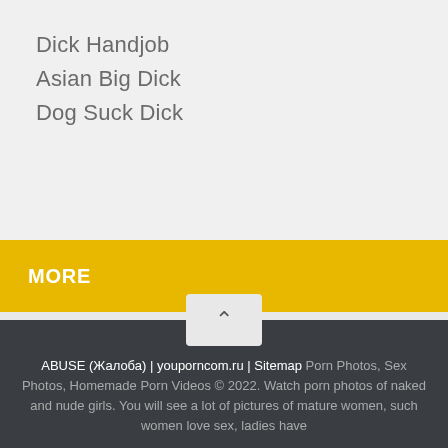Dick Handjob
Asian Big Dick
Dog Suck Dick
MORE
ABUSE (Жалоба) | youporncom.ru | Sitemap Porn Photos, Sex Photos, Homemade Porn Videos © 2022. Watch porn photos of naked and nude girls. You will see a lot of pictures of mature women, such women love sex, ladies have